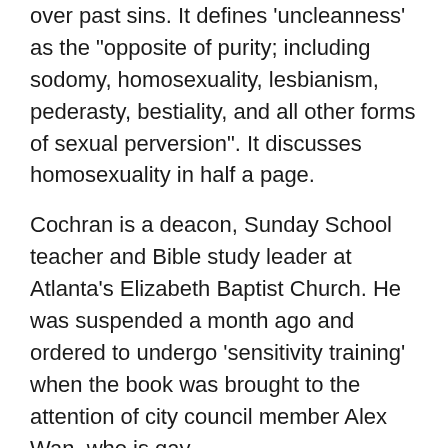over past sins. It defines 'uncleanness' as the "opposite of purity; including sodomy, homosexuality, lesbianism, pederasty, bestiality, and all other forms of sexual perversion". It discusses homosexuality in half a page.
Cochran is a deacon, Sunday School teacher and Bible study leader at Atlanta's Elizabeth Baptist Church. He was suspended a month ago and ordered to undergo 'sensitivity training' when the book was brought to the attention of city council member Alex Wan, who is gay.
Related
Catholic bishop: Church should recognise